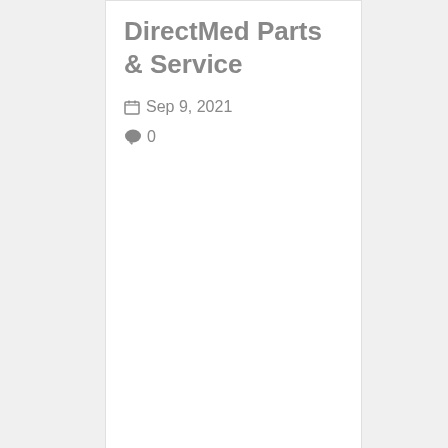DirectMed Parts & Service
Sep 9, 2021
0
[Figure (photo): Photograph of an MRI gradient coil assembly — a large cylindrical copper-wound component on a warehouse floor]
MRI
All About Gradient Coils in Magneti